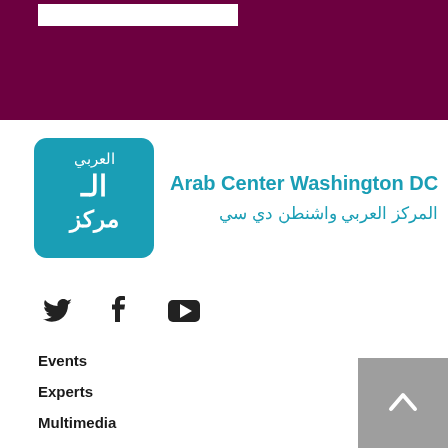Arab Center Washington DC
[Figure (logo): Arab Center Washington DC logo — teal square with Arabic calligraphy, beside English and Arabic organization name in teal text]
[Figure (infographic): Social media icons: Twitter bird, Facebook f, YouTube play button]
Events
Experts
Multimedia
Publications
Topics
Regions